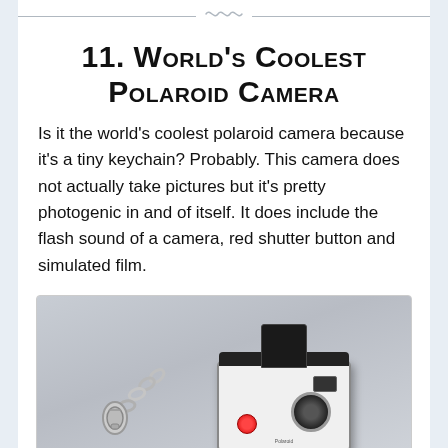decorative border
11. World’s Coolest Polaroid Camera
Is it the world’s coolest polaroid camera because it’s a tiny keychain? Probably. This camera does not actually take pictures but it’s pretty photogenic in and of itself. It does include the flash sound of a camera, red shutter button and simulated film.
[Figure (photo): A miniature Polaroid camera keychain with white and black body, red shutter button, lens, and a silver metal keychain clip, photographed against a light grey background.]